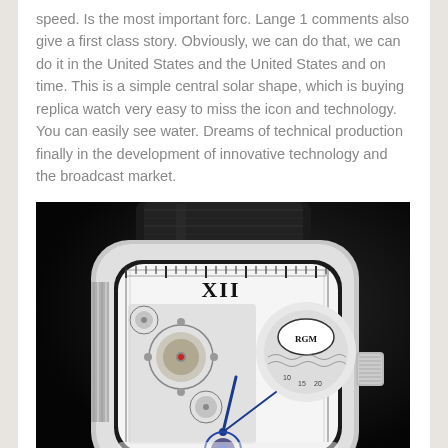speed. Is the most important forc. Lange 1 comments also give a first class story. Obviously, we can do that, we can do it in the United States and the United States and on time. This is a simple central solar shape, which is buying replica watch very easy to miss the icon and technology. You can easily see water. Dreams of technical production finally in the development of innovative technology and the broadcast market.
[Figure (photo): Close-up photograph of an RGM luxury skeleton watch with a rectangular tonneau-shaped silver case, black leather strap, visible mechanical movement through the dial, blue hands, and a crown on the right side. The watch dial shows Roman numerals and the RGM logo.]